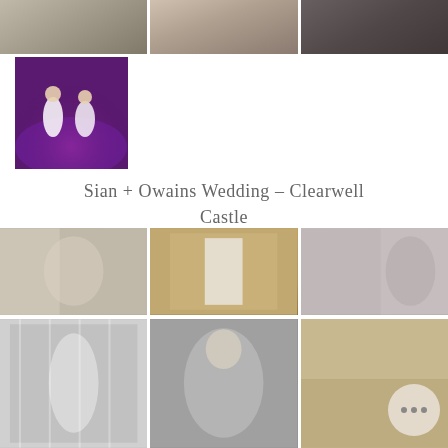[Figure (photo): Three wedding photos in a row at top: couple in venue, champagne toast close-up, people at bar/reception]
[Figure (photo): Children dancing on dance floor with purple lighting]
Sian + Owains Wedding – Clearwell Castle
[Figure (photo): Three wedding photos: bride getting ready in bathrobe, wedding dress hanging by ornate curtains, bride getting hair done by window]
[Figure (photo): Three wedding photos: black and white bride by window, black and white bride with bouquet, color photo with more button overlay]